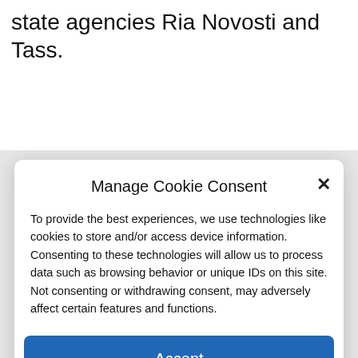state agencies Ria Novosti and Tass.
Manage Cookie Consent
To provide the best experiences, we use technologies like cookies to store and/or access device information. Consenting to these technologies will allow us to process data such as browsing behavior or unique IDs on this site. Not consenting or withdrawing consent, may adversely affect certain features and functions.
Accept